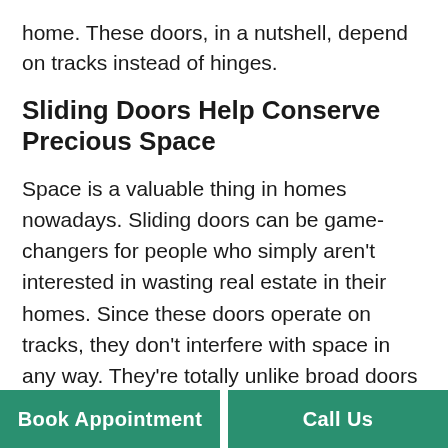home. These doors, in a nutshell, depend on tracks instead of hinges.
Sliding Doors Help Conserve Precious Space
Space is a valuable thing in homes nowadays. Sliding doors can be game-changers for people who simply aren't interested in wasting real estate in their homes. Since these doors operate on tracks, they don't interfere with space in any way. They're totally unlike broad doors that swing open. It doesn't matter if you live in a tight city apartment or a spacious country manor. Conserving space can make your interior design look a lot more appealing. It can stop you from running into other people who
Book Appointment
Call Us